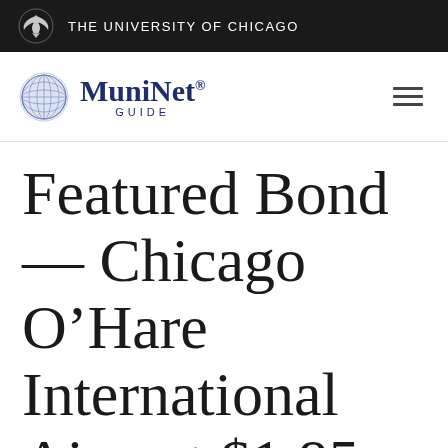THE UNIVERSITY OF CHICAGO
[Figure (logo): MuniNet Guide logo with globe icon and text]
Featured Bond — Chicago O’Hare International Airport $1.85 Billion B...